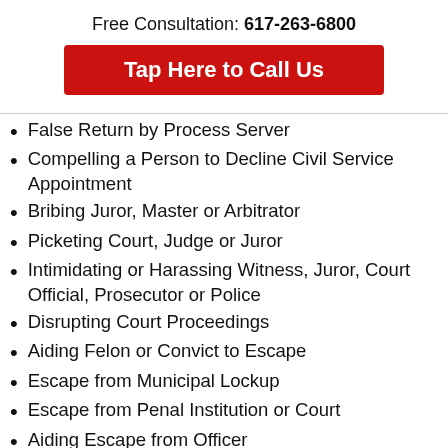Free Consultation: 617-263-6800
Tap Here to Call Us
False Return by Process Server
Compelling a Person to Decline Civil Service Appointment
Bribing Juror, Master or Arbitrator
Picketing Court, Judge or Juror
Intimidating or Harassing Witness, Juror, Court Official, Prosecutor or Police
Disrupting Court Proceedings
Aiding Felon or Convict to Escape
Escape from Municipal Lockup
Escape from Penal Institution or Court
Aiding Escape from Officer
Permitting Prisoner to Escape